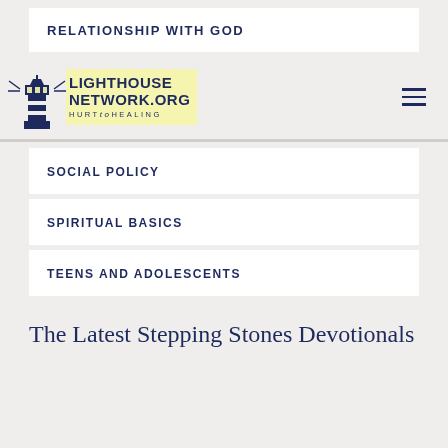RELATIONSHIP WITH GOD
[Figure (logo): Lighthouse Network.org - Hurt to Healing logo with lighthouse illustration]
SOCIAL POLICY
SPIRITUAL BASICS
TEENS AND ADOLESCENTS
The Latest Stepping Stones Devotionals